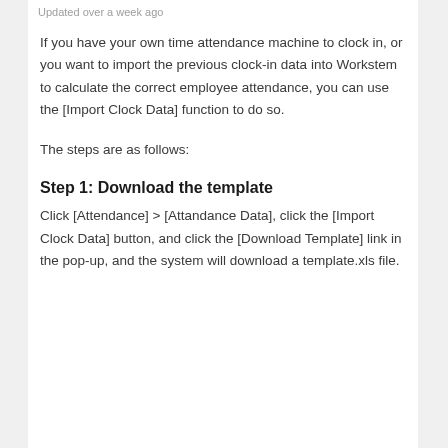Updated over a week ago
If you have your own time attendance machine to clock in, or you want to import the previous clock-in data into Workstem to calculate the correct employee attendance, you can use the [Import Clock Data] function to do so.
The steps are as follows:
Step 1: Download the template
Click [Attendance] > [Attandance Data], click the [Import Clock Data] button, and click the [Download Template] link in the pop-up, and the system will download a template.xls file.